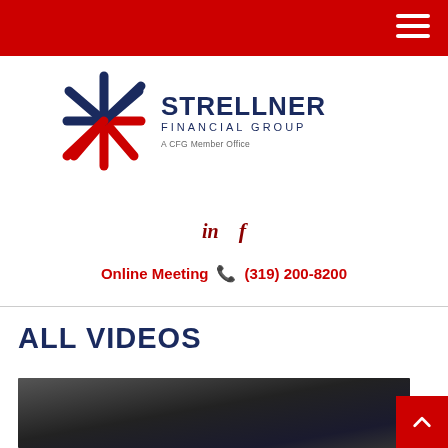Strellner Financial Group - header bar with navigation menu
[Figure (logo): Strellner Financial Group logo with red and blue snowflake/asterisk icon, text 'STRELLNER FINANCIAL GROUP' and subtitle 'A CFG Member Office']
in  f
Online Meeting  📞  (319) 200-8200
ALL VIDEOS
[Figure (photo): Video thumbnail showing a person in a dark suit working at a laptop, partially visible]